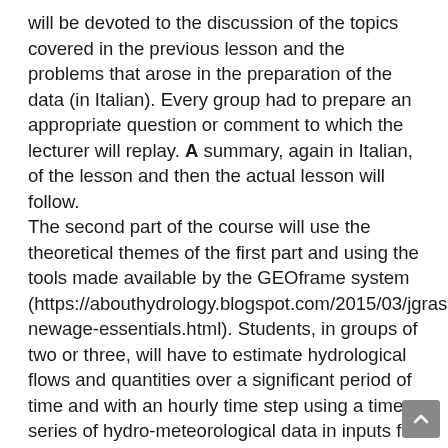will be devoted to the discussion of the topics covered in the previous lesson and the problems that arose in the preparation of the data (in Italian). Every group had to prepare an appropriate question or comment to which the lecturer will replay. A summary, again in Italian, of the lesson and then the actual lesson will follow.
The second part of the course will use the theoretical themes of the first part and using the tools made available by the GEOframe system (https://abouthydrology.blogspot.com/2015/03/jgrass-newage-essentials.html). Students, in groups of two or three, will have to estimate hydrological flows and quantities over a significant period of time and with an hourly time step using a time series of hydro-meteorological data in inputs for period long enough to allow adequate calibration of the models. With the help of the tutor and the reader, students will face problems of missing